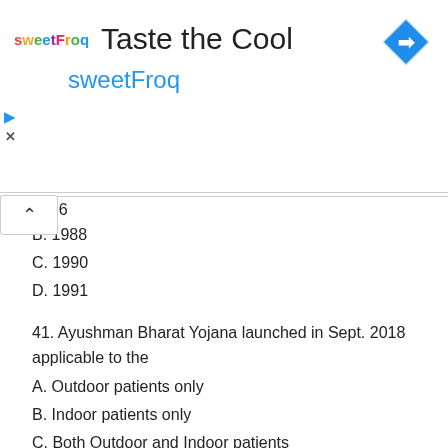[Figure (other): SweetFrog advertisement banner with logo, 'Taste the Cool' heading, navigation icon, play/close controls, and 'sweetFroq' subtitle in blue]
1986 (partial, cut off at top)
B. 1988
C. 1990
D. 1991
41. Ayushman Bharat Yojana launched in Sept. 2018 applicable to the
A. Outdoor patients only
B. Indoor patients only
C. Both Outdoor and Indoor patients
D. None of above
42. Any vital event like birth or death occurred in an area is to be reported to the nearest health centre within a period of